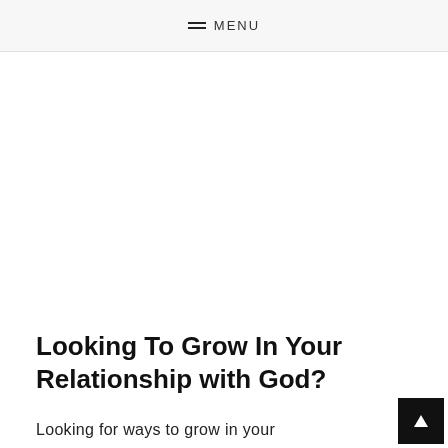MENU
Looking To Grow In Your Relationship with God?
Looking for ways to grow in your